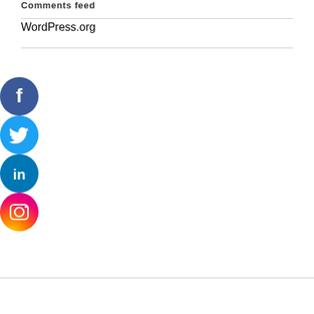Comments feed
WordPress.org
[Figure (logo): Facebook logo - blue circle with white 'f' icon]
[Figure (logo): Twitter logo - light blue circle with white bird icon]
[Figure (logo): LinkedIn logo - dark blue circle with white 'in' text]
[Figure (logo): Instagram logo - pink/orange gradient circle with white camera icon]